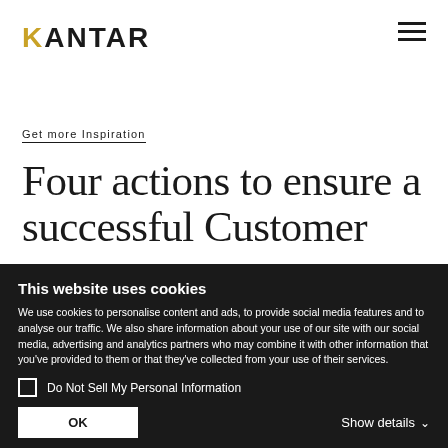KANTAR
Get more Inspiration
Four actions to ensure a successful Customer
This website uses cookies
We use cookies to personalise content and ads, to provide social media features and to analyse our traffic. We also share information about your use of our site with our social media, advertising and analytics partners who may combine it with other information that you've provided to them or that they've collected from your use of their services.
Do Not Sell My Personal Information
OK
Show details